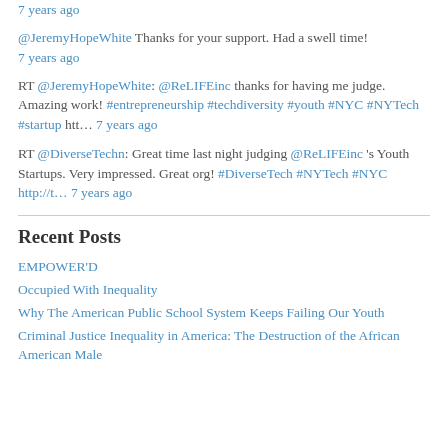7 years ago
@JeremyHopeWhite Thanks for your support. Had a swell time! 7 years ago
RT @JeremyHopeWhite: @ReLIFEinc thanks for having me judge. Amazing work! #entrepreneurship #techdiversity #youth #NYC #NYTech #startup htt… 7 years ago
RT @DiverseTechn: Great time last night judging @ReLIFEinc 's Youth Startups. Very impressed. Great org! #DiverseTech #NYTech #NYC http://t… 7 years ago
Recent Posts
EMPOWER'D
Occupied With Inequality
Why The American Public School System Keeps Failing Our Youth
Criminal Justice Inequality in America: The Destruction of the African American Male